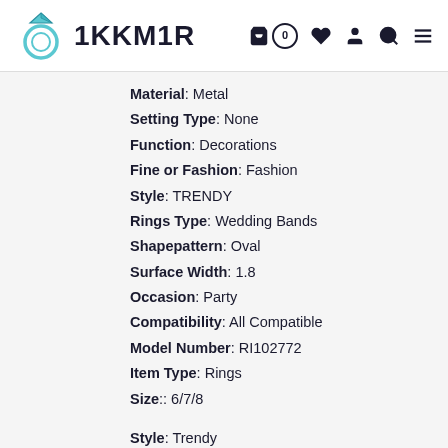1KKM1R
Material: Metal
Setting Type: None
Function: Decorations
Fine or Fashion: Fashion
Style: TRENDY
Rings Type: Wedding Bands
Shapepattern: Oval
Surface Width: 1.8
Occasion: Party
Compatibility: All Compatible
Model Number: RI102772
Item Type: Rings
Size:: 6/7/8
Style: Trendy
Occasion: Anniversary, Engagement, Gift&Party accessories